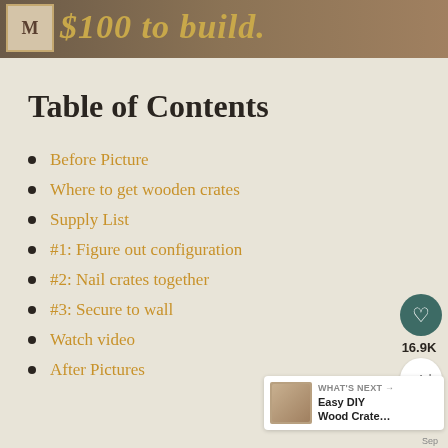[Figure (illustration): Website banner with logo 'M' and italic text '$100 to build' on a brown/tan background]
Table of Contents
Before Picture
Where to get wooden crates
Supply List
#1: Figure out configuration
#2: Nail crates together
#3: Secure to wall
Watch video
After Pictures